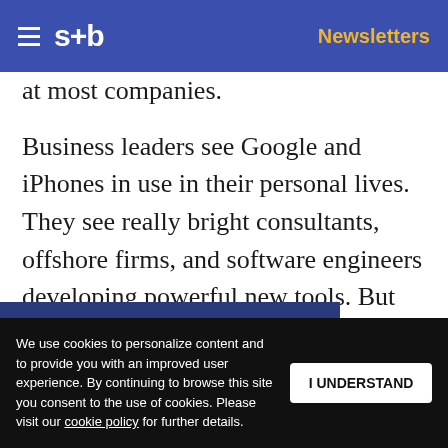s+b | Newsletters
at most companies.
Business leaders see Google and iPhones in use in their personal lives. They see really bright consultants, offshore firms, and software engineers developing powerful new tools. But when they go to their offices, they're living with 30-year-old technology. They can't [mean they have] what they see
Get s+b's award-winning newsletter delivered to your inbox.
We use cookies to personalize content and to provide you with an improved user experience. By continuing to browse this site you consent to the use of cookies. Please visit our cookie policy for further details.